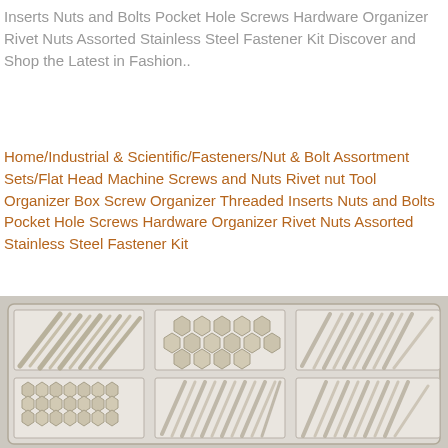Inserts Nuts and Bolts Pocket Hole Screws Hardware Organizer Rivet Nuts Assorted Stainless Steel Fastener Kit Discover and Shop the Latest in Fashion..
Home/Industrial & Scientific/Fasteners/Nut & Bolt Assortment Sets/Flat Head Machine Screws and Nuts Rivet nut Tool Organizer Box Screw Organizer Threaded Inserts Nuts and Bolts Pocket Hole Screws Hardware Organizer Rivet Nuts Assorted Stainless Steel Fastener Kit
[Figure (photo): A clear plastic organizer box containing an assortment of stainless steel fasteners including screws, bolts, and hex nuts arranged in 6 compartments (2 rows x 3 columns). Top-left compartment contains long machine screws, top-middle has hex nuts, top-right has flat head screws, bottom-left has smaller nuts, bottom-middle has shorter screws, bottom-right has various screws.]